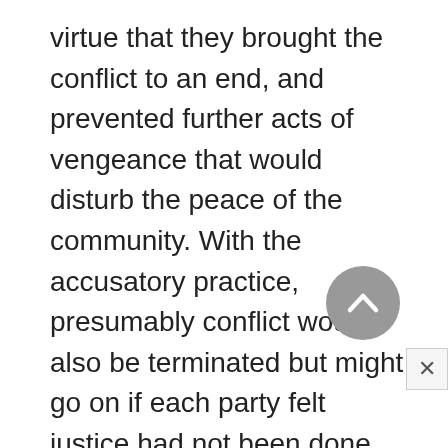virtue that they brought the conflict to an end, and prevented further acts of vengeance that would disturb the peace of the community. With the accusatory practice, presumably conflict would also be terminated but might go on if each party felt justice had not been done.
The inquisitorial model introduced the state as an active participant in the trial. Now the judge, who is after all a representative of government, is in a